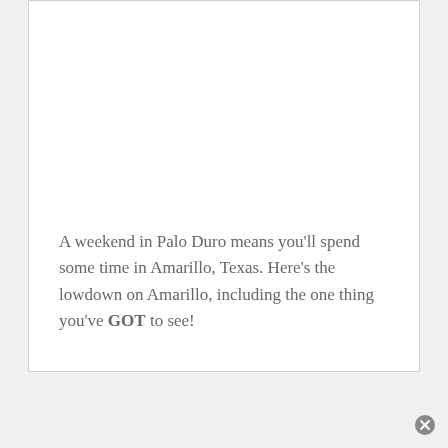A weekend in Palo Duro means you'll spend some time in Amarillo, Texas. Here's the lowdown on Amarillo, including the one thing you've GOT to see!